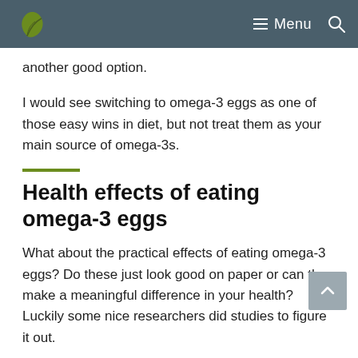Menu
another good option.
I would see switching to omega-3 eggs as one of those easy wins in diet, but not treat them as your main source of omega-3s.
Health effects of eating omega-3 eggs
What about the practical effects of eating omega-3 eggs? Do these just look good on paper or can they make a meaningful difference in your health? Luckily some nice researchers did studies to figure it out.
First in line is this paper that looked at the effect of